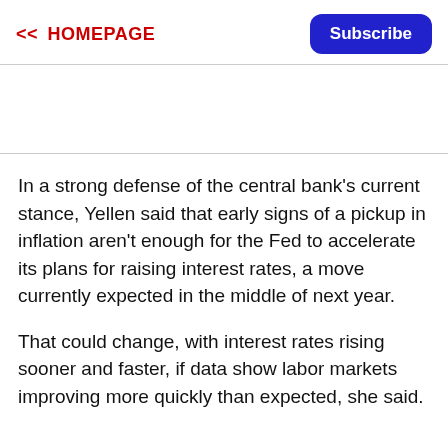<< HOMEPAGE
In a strong defense of the central bank's current stance, Yellen said that early signs of a pickup in inflation aren't enough for the Fed to accelerate its plans for raising interest rates, a move currently expected in the middle of next year.
That could change, with interest rates rising sooner and faster, if data show labor markets improving more quickly than expected, she said.